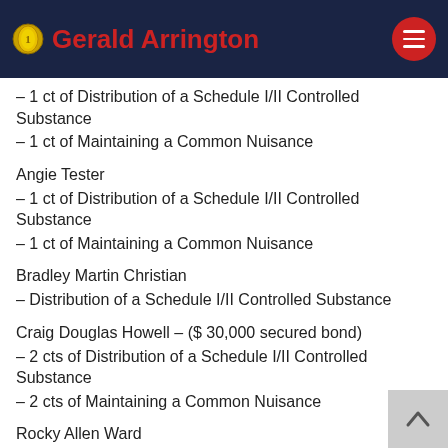Gerald Arrington
– 1 ct of Distribution of a Schedule I/II Controlled Substance
– 1 ct of Maintaining a Common Nuisance
Angie Tester
– 1 ct of Distribution of a Schedule I/II Controlled Substance
– 1 ct of Maintaining a Common Nuisance
Bradley Martin Christian
– Distribution of a Schedule I/II Controlled Substance
Craig Douglas Howell – ($ 30,000 secured bond)
– 2 cts of Distribution of a Schedule I/II Controlled Substance
– 2 cts of Maintaining a Common Nuisance
Rocky Allen Ward